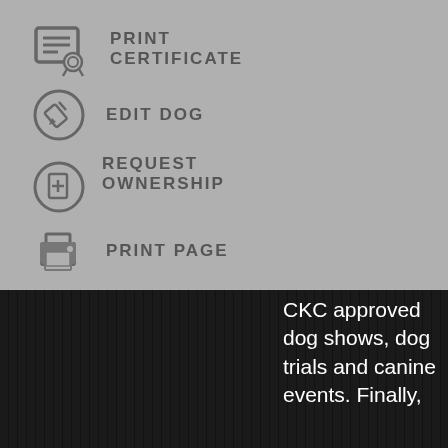[Figure (screenshot): Menu overlay with grey background showing four menu items: Print Certificate (certificate icon), Edit Dog (edit icon in circle), Request Ownership (document icon in circle), Print Page (printer icon), Show Best 20 (list icon)]
PRINT CERTIFICATE
EDIT DOG
REQUEST OWNERSHIP
PRINT PAGE
SHOW BEST 20
CKC approved dog shows, dog trials and canine events. Finally,